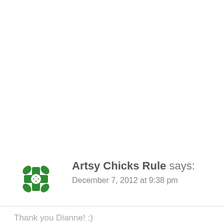[Figure (logo): Circular green decorative logo/avatar with a cross/flower geometric pattern in green on white background]
Artsy Chicks Rule says: December 7, 2012 at 9:38 pm
Thank you Dianne! :)